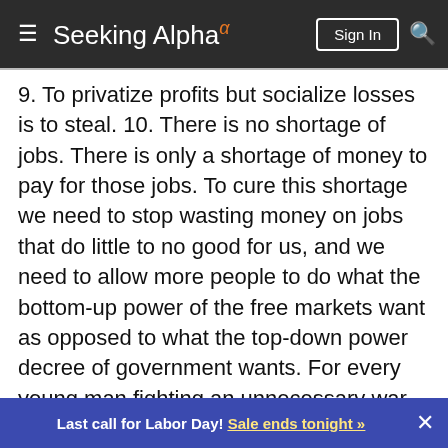Seeking Alpha
9. To privatize profits but socialize losses is to steal. 10. There is no shortage of jobs. There is only a shortage of money to pay for those jobs. To cure this shortage we need to stop wasting money on jobs that do little to no good for us, and we need to allow more people to do what the bottom-up power of the free markets want as opposed to what the top-down power decree of government wants. For every young man fighting an unnecessary war, there is one less man who can teach 3rd grade and coach little league. For every MVA worker, there is one less worker available to pickup trash or plug potholes. For every genius who goes into
Last call for Labor Day! Sale ends tonight »